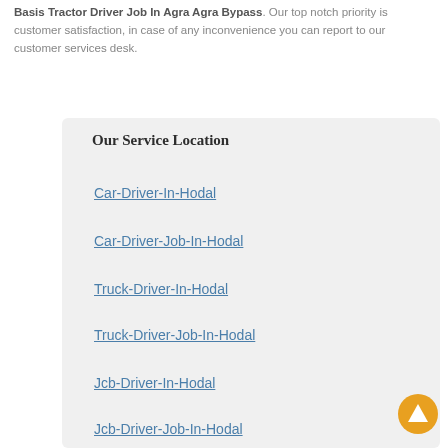Basis Tractor Driver Job In Agra Agra Bypass. Our top notch priority is customer satisfaction, in case of any inconvenience you can report to our customer services desk.
Our Service Location
Car-Driver-In-Hodal
Car-Driver-Job-In-Hodal
Truck-Driver-In-Hodal
Truck-Driver-Job-In-Hodal
Jcb-Driver-In-Hodal
Jcb-Driver-Job-In-Hodal
Auto-Driver-In-Hodal